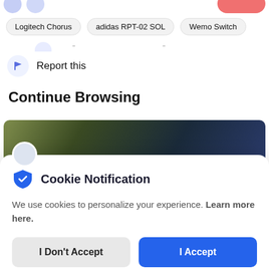Logitech Chorus
adidas RPT-02 SOL
Wemo Switch
Report this
Continue Browsing
[Figure (screenshot): Cropped product image showing outdoor/nature scene with a circular avatar icon at bottom left]
Cookie Notification
We use cookies to personalize your experience. Learn more here.
I Don't Accept | I Accept